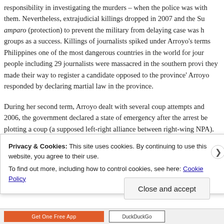responsibility in investigating the murders – when the police was with them. Nevertheless, extrajudicial killings dropped in 2007 and the Supreme Court amparo (protection) to prevent the military from delaying case was hailed by groups as a success. Killings of journalists spiked under Arroyo's terms making Philippines one of the most dangerous countries in the world for journalists. 57 people including 29 journalists were massacred in the southern province when they made their way to register a candidate opposed to the province's governor. Arroyo responded by declaring martial law in the province.
During her second term, Arroyo dealt with several coup attempts and crises. In 2006, the government declared a state of emergency after the arrest of soldiers said to be plotting a coup (a supposed left-right alliance between right-wing soldiers and the NPA). Security forces raided press offices, arrested left-wing party-list representatives without warrants and brutally dispersed opposition protests in Manila. Arroyo's actions during the 2006 crisis were heavily criticized by the opposition...
Privacy & Cookies: This site uses cookies. By continuing to use this website, you agree to their use. To find out more, including how to control cookies, see here: Cookie Policy
Close and accept